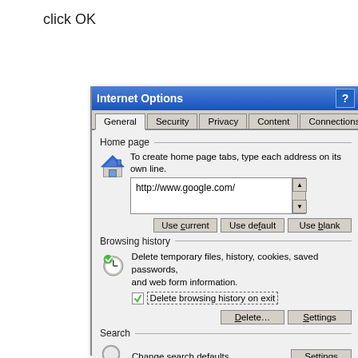click OK
[Figure (screenshot): Internet Options dialog box from Internet Explorer showing General tab with Home page section (http://www.google.com/), Browsing history section with Delete browsing history on exit checkbox checked, Search section, and Tabs section.]